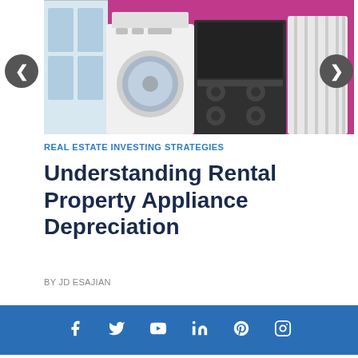[Figure (photo): Photo of household appliances including washing machine, stove/oven, and radiator against a pink/magenta wall]
REAL ESTATE INVESTING STRATEGIES
Understanding Rental Property Appliance Depreciation
BY JD ESAJIAN
[Figure (infographic): Social media icons bar with Facebook, Twitter, YouTube, LinkedIn, Pinterest, and Instagram icons on blue background]
Get Our Weekly Newsletter
The latest real estate investing content delivered straight to your inbox.